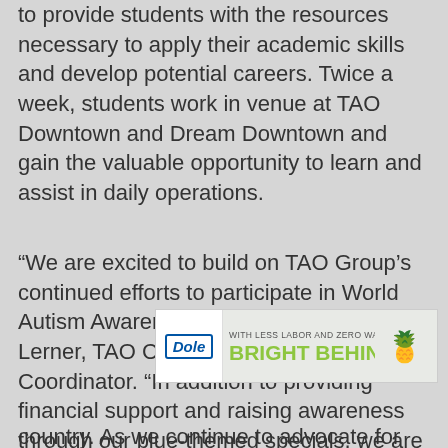to provide students with the resources necessary to apply their academic skills and develop potential careers. Twice a week, students work in venue at TAO Downtown and Dream Downtown and gain the valuable opportunity to learn and assist in daily operations.
“We are excited to build on TAO Group’s continued efforts to participate in World Autism Awareness Month,” says Charles Lerner, TAO Cares Engagement Coordinator. “In addition to providing financial support and raising awareness through our blue-themed specials, we are proud to have hired four students with autism to work in in our New York [expan...] country. As we continue to advocate for the
[Figure (other): Dole advertisement banner: 'WITH LESS LABOR AND ZERO WASTE, DOLE IS BRIGHT BEHIND YOU.' with Dole logo, a can of Dole product, and a pineapple image.]